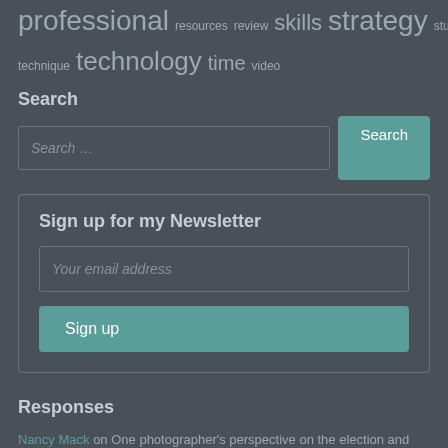professional resources review skills strategy study style technique technology time video
Search
[Figure (screenshot): Search input field with placeholder 'Search ...' and a teal Search button]
Sign up for my Newsletter
[Figure (screenshot): Newsletter signup box with email input placeholder 'Your email address' and a teal Sign up button]
Responses
Nancy Mack on One photographer's perspective on the election and American exceptionalism
Scott Teven on The importance of portfolio review events